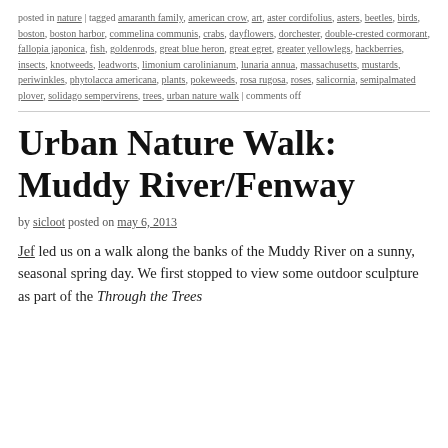posted in nature | tagged amaranth family, american crow, art, aster cordifolius, asters, beetles, birds, boston, boston harbor, commelina communis, crabs, dayflowers, dorchester, double-crested cormorant, fallopia japonica, fish, goldenrods, great blue heron, great egret, greater yellowlegs, hackberries, insects, knotweeds, leadworts, limonium carolinianum, lunaria annua, massachusetts, mustards, periwinkles, phytolacca americana, plants, pokeweeds, rosa rugosa, roses, salicornia, semipalmated plover, solidago sempervirens, trees, urban nature walk | comments off
Urban Nature Walk: Muddy River/Fenway
by sicloot posted on may 6, 2013
Jef led us on a walk along the banks of the Muddy River on a sunny, seasonal spring day. We first stopped to view some outdoor sculpture as part of the Through the Trees